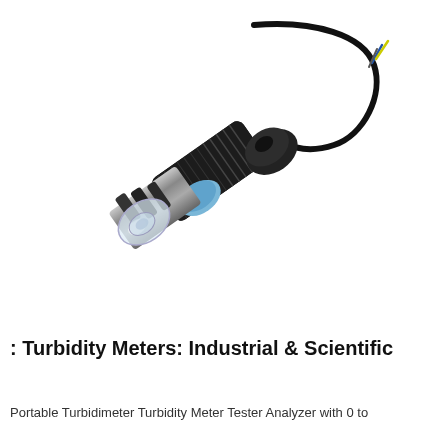[Figure (photo): A turbidity sensor probe with a cylindrical black body, threaded housing, clear optical tip/lens at one end, and a black cable with exposed yellow and blue wires at the other end. The sensor is shown diagonally on a white background.]
: Turbidity Meters: Industrial & Scientific
Portable Turbidimeter Turbidity Meter Tester Analyzer with 0 to